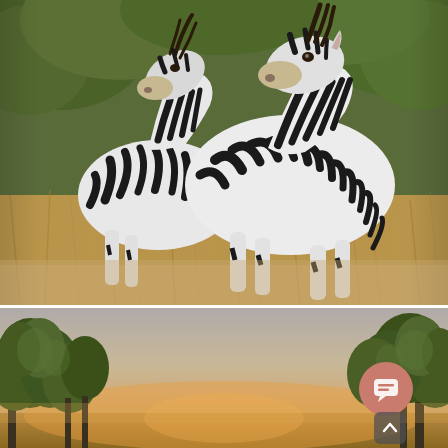[Figure (photo): Two zebras nuzzling each other, standing in tall golden-brown grass with green trees/bushes in the background. Wildlife safari photograph.]
[Figure (photo): Landscape photo of trees with a hazy sunset/sunrise sky in warm golden and gray tones. A circular chat/comment button (salmon/terracotta color) with a speech bubble icon is overlaid in the lower right, and a small scroll-up arrow button below it.]